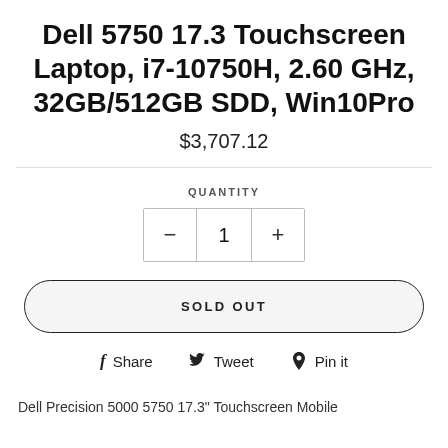Dell 5750 17.3 Touchscreen Laptop, i7-10750H, 2.60 GHz, 32GB/512GB SDD, Win10Pro
$3,707.12
QUANTITY
- 1 +
SOLD OUT
Share  Tweet  Pin it
Dell Precision 5000 5750 17.3" Touchscreen Mobile